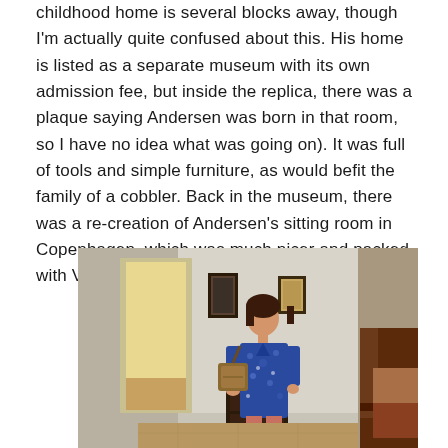childhood home is several blocks away, though I'm actually quite confused about this. His home is listed as a separate museum with its own admission fee, but inside the replica, there was a plaque saying Andersen was born in that room, so I have no idea what was going on). It was full of tools and simple furniture, as would befit the family of a cobbler. Back in the museum, there was a re-creation of Andersen's sitting room in Copenhagen, which was much nicer and packed with Victorian knickknacks.
[Figure (photo): A woman in a blue floral dress with a shoulder bag standing inside a room with simple furnishings - a dark chest of drawers, a wooden bed frame, framed pictures on the wall, and an open door leading to a light-colored room.]